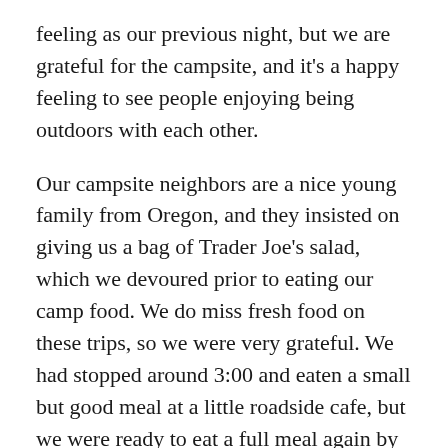feeling as our previous night, but we are grateful for the campsite, and it's a happy feeling to see people enjoying being outdoors with each other.
Our campsite neighbors are a nice young family from Oregon, and they insisted on giving us a bag of Trader Joe's salad, which we devoured prior to eating our camp food. We do miss fresh food on these trips, so we were very grateful. We had stopped around 3:00 and eaten a small but good meal at a little roadside cafe, but we were ready to eat a full meal again by the time we got to our campsite and got set up.
We rode 55 miles and gained about 2500 feet. Miles on the road feel so much longer than miles ridden on dedicated bike trails. I think it's because on a bike trail you get to just focus on the beauty around you, and when on the road a large part of your mental energy is needed to